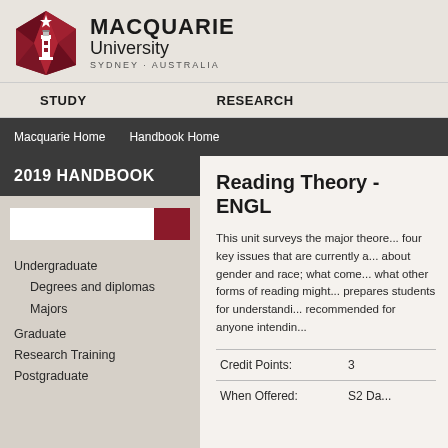[Figure (logo): Macquarie University logo: red triangular shield with lighthouse and star, alongside text 'MACQUARIE University SYDNEY·AUSTRALIA']
STUDY    RESEARCH
Macquarie Home    Handbook Home
2019 HANDBOOK
Undergraduate
Degrees and diplomas
Majors
Graduate
Research Training
Postgraduate
Reading Theory - ENGL
This unit surveys the major theore... four key issues that are currently a... about gender and race; what come... what other forms of reading might... prepares students for understandi... recommended for anyone intendin...
| Field | Value |
| --- | --- |
| Credit Points: | 3 |
| When Offered: | S2 Da... |